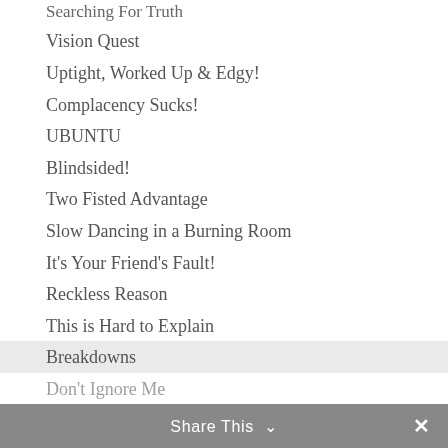Searching For Truth
Vision Quest
Uptight, Worked Up & Edgy!
Complacency Sucks!
UBUNTU
Blindsided!
Two Fisted Advantage
Slow Dancing in a Burning Room
It's Your Friend's Fault!
Reckless Reason
This is Hard to Explain
Breakdowns
Don't Ignore Me
Share This ∨  ✕